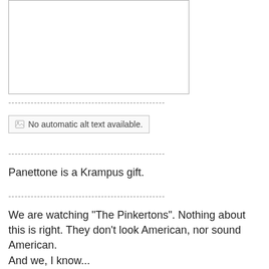[Figure (other): Empty white box with thin gray border, representing an image placeholder]
------------------------------------------------
[Figure (other): Broken image placeholder reading: No automatic alt text available.]
------------------------------------------------
Panettone is a Krampus gift.
------------------------------------------------
We are watching "The Pinkertons". Nothing about this is right. They don't look American, nor sound American. And we, I know...